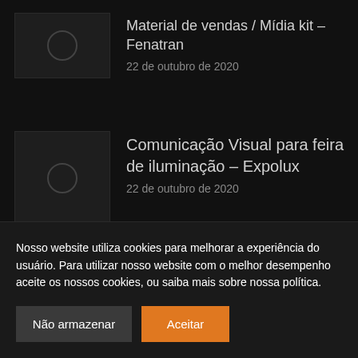Material de vendas / Mídia kit – Fenatran
22 de outubro de 2020
Comunicação Visual para feira de iluminação – Expolux
22 de outubro de 2020
Nosso website utiliza cookies para melhorar a experiência do usuário. Para utilizar nosso website com o melhor desempenho aceite os nossos cookies, ou saiba mais sobre nossa política.